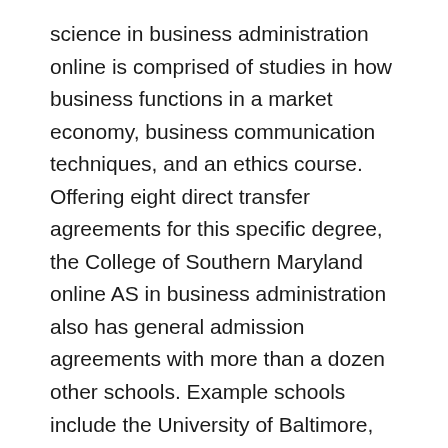science in business administration online is comprised of studies in how business functions in a market economy, business communication techniques, and an ethics course. Offering eight direct transfer agreements for this specific degree, the College of Southern Maryland online AS in business administration also has general admission agreements with more than a dozen other schools. Example schools include the University of Baltimore, Stevenson University, Capitol Technology University, and the University of Maryland Global Campus.
#22 – College of Southern Idaho
Twin Falls, Idaho
AAS in Business Management and